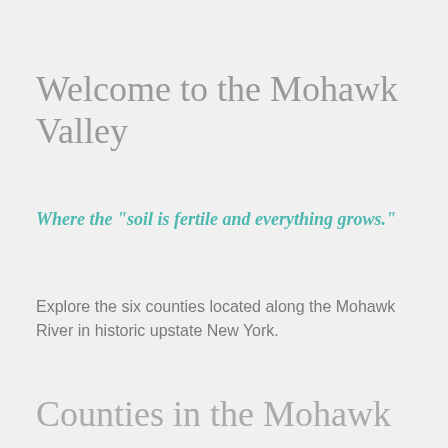Welcome to the Mohawk Valley
Where the "soil is fertile and everything grows."
Explore the six counties located along the Mohawk River in historic upstate New York.
Counties in the Mohawk